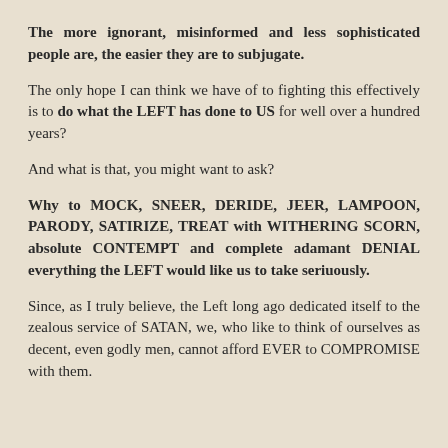The more ignorant, misinformed and less sophisticated people are, the easier they are to subjugate.
The only hope I can think we have of to fighting this effectively is to do what the LEFT has done to US for well over a hundred years?
And what is that, you might want to ask?
Why to MOCK, SNEER, DERIDE, JEER, LAMPOON, PARODY, SATIRIZE, TREAT with WITHERING SCORN, absolute CONTEMPT and complete adamant DENIAL everything the LEFT would like us to take seriuously.
Since, as I truly believe, the Left long ago dedicated itself to the zealous service of SATAN, we, who like to think of ourselves as decent, even godly men, cannot afford EVER to COMPROMISE with them.